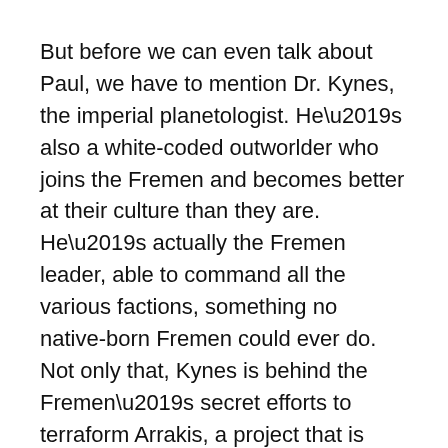But before we can even talk about Paul, we have to mention Dr. Kynes, the imperial planetologist. He’s also a white-coded outworlder who joins the Fremen and becomes better at their culture than they are. He’s actually the Fremen leader, able to command all the various factions, something no native-born Fremen could ever do. Not only that, Kynes is behind the Fremen’s secret efforts to terraform Arrakis, a project that is described as being religious in nature.
Then Kynes dies so that Paul can take his place. Paul even hooks up with Kynes’s daughter in what feels like an unofficial inheritance deal by the author. Wow. The white savior trope is distressingly